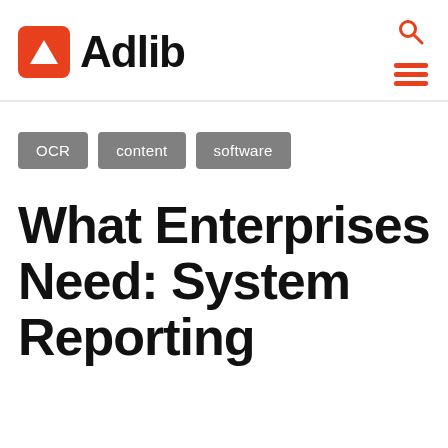[Figure (logo): Adlib logo with orange square icon containing white triangle and bold black text 'Adlib']
OCR
content
software
What Enterprises Need: System Reporting